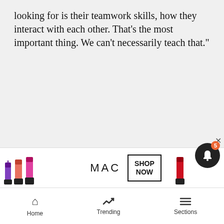looking for is their teamwork skills, how they interact with each other. That’s the most important thing. We can’t necessarily teach that.”
[Figure (photo): Two people wearing face masks and winter hats leaning over something, in an indoor setting with other masked people in the background.]
[Figure (screenshot): MAC cosmetics advertisement banner with lipstick images, MAC logo, and SHOP NOW button.]
Home   Trending   Sections